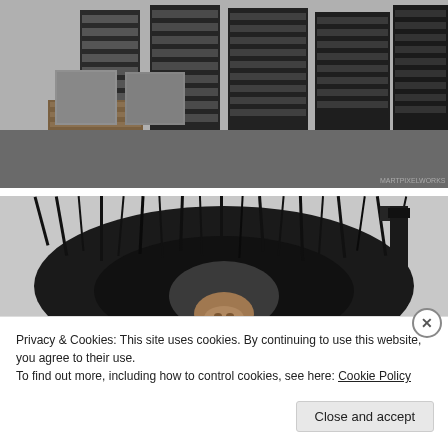[Figure (photo): Stacks of wooden and plastic pallets along with large grey concrete or stone blocks in an industrial or warehouse setting, greyscale/muted tones.]
[Figure (photo): Close-up of a large circular industrial brush (black bristles) with what appears to be the head of a dog or similar animal visible just below center, grey/overcast background with a dark post or equipment on the right.]
Privacy & Cookies: This site uses cookies. By continuing to use this website, you agree to their use.
To find out more, including how to control cookies, see here: Cookie Policy
Close and accept